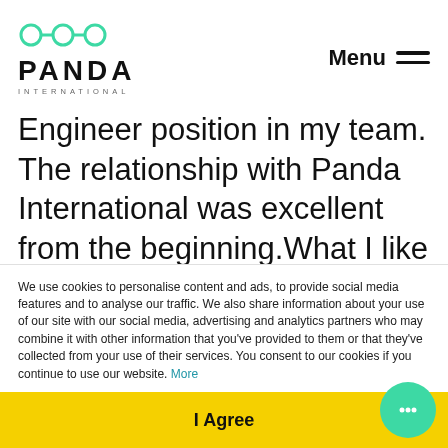PANDA INTERNATIONAL
Engineer position in my team. The relationship with Panda International was excellent from the beginning.What I like most about Panda International and their consultants, more than other companies, is that they actually listen to my feedback and improve results upon it. I really notice that other
We use cookies to personalise content and ads, to provide social media features and to analyse our traffic. We also share information about your use of our site with our social media, advertising and analytics partners who may combine it with other information that you've provided to them or that they've collected from your use of their services. You consent to our cookies if you continue to use our website. More
I Agree